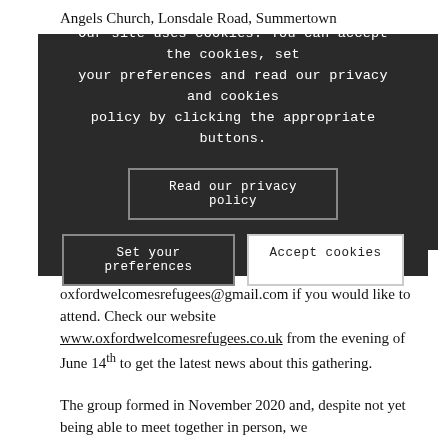Angels Church, Lonsdale Road, Summertown
[Figure (screenshot): Cookie consent overlay with dark background, message reading 'Our site uses cookies. You can accept the cookies, set your preferences and read our privacy and cookies policy by clicking the appropriate buttons.' with buttons 'Read our privacy policy', 'Set your preferences', and 'Accept cookies']
oxfordwelcomesrefugees@gmail.com if you would like to attend. Check our website www.oxfordwelcomesrefugees.co.uk from the evening of June 14th to get the latest news about this gathering.
The group formed in November 2020 and, despite not yet being able to meet together in person, we